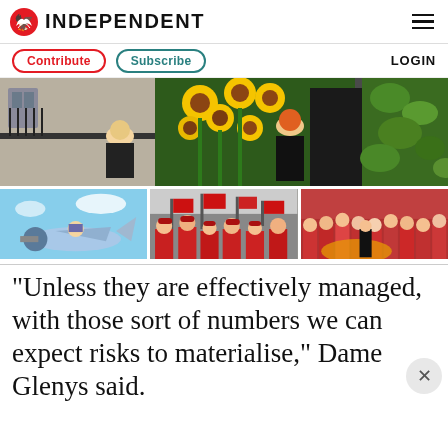INDEPENDENT
Contribute   Subscribe   LOGIN
[Figure (photo): People arranging sunflowers outside a black door (10 Downing Street), with green foliage wall on right]
[Figure (photo): Three thumbnail images side by side: a small blue propeller plane with pilot; crowd of workers in red vests and hats waving red flags; crowd of people in red with a procession]
“Unless they are effectively managed, with those sort of numbers we can expect risks to materialise,” Dame Glenys said.